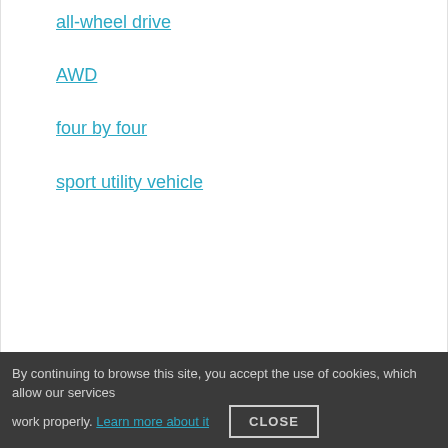all-wheel drive
AWD
four by four
sport utility vehicle
By continuing to browse this site, you accept the use of cookies, which allow our services work properly. Learn more about it CLOSE